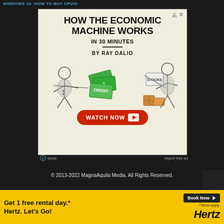WINDOWS 10: HOW TO BUY CPUID
[Figure (illustration): Advertisement for 'How the Economic Machine Works in 30 Minutes by Ray Dalio' - shows stick figures exchanging credit/money and stocks/boxes, with a red Watch Now button with YouTube play icon. Ezoic ad label at bottom left, 'report this ad' link at bottom right.]
ezoic   report this ad
© 2013-2022 MagnaAquila Media. All Rights Reserved.
[Figure (illustration): Hertz car rental advertisement banner: 'Get 1 free rental day.* Hertz. Let's Go!' with 'Book Now' button and Hertz logo. Yellow background. '*Terms apply.']